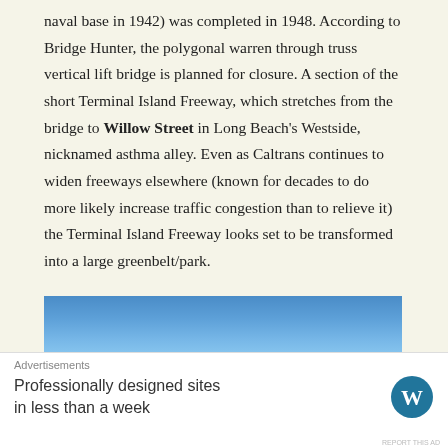naval base in 1942) was completed in 1948. According to Bridge Hunter, the polygonal warren through truss vertical lift bridge is planned for closure. A section of the short Terminal Island Freeway, which stretches from the bridge to Willow Street in Long Beach's Westside, nicknamed asthma alley. Even as Caltrans continues to widen freeways elsewhere (known for decades to do more likely increase traffic congestion than to relieve it) the Terminal Island Freeway looks set to be transformed into a large greenbelt/park.
[Figure (photo): A blue sky photograph, possibly taken near a coastal or open area, showing a gradient from deep blue at the top to lighter blue and a hazy horizon line at the bottom.]
Advertisements
Professionally designed sites in less than a week